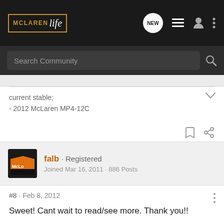McLaren Life - Search Community
current stable;
- 2012 McLaren MP4-12C
falb · Registered
Joined Mar 16, 2011 · 886 Posts
#8 · Feb 8, 2012
Sweet! Cant wait to read/see more. Thank you!!